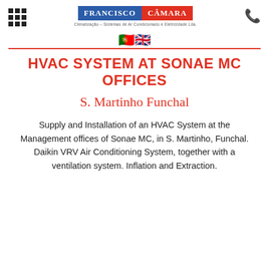Francisco Câmara — Climatização – Sistemas de Ar Condicionado e Eletricidade Lda.
[Figure (illustration): Portuguese and UK flag emoji icons centered on page]
HVAC SYSTEM AT SONAE MC OFFICES
S. Martinho Funchal
Supply and Installation of an HVAC System at the Management offices of Sonae MC, in S. Martinho, Funchal. Daikin VRV Air Conditioning System, together with a ventilation system. Inflation and Extraction.